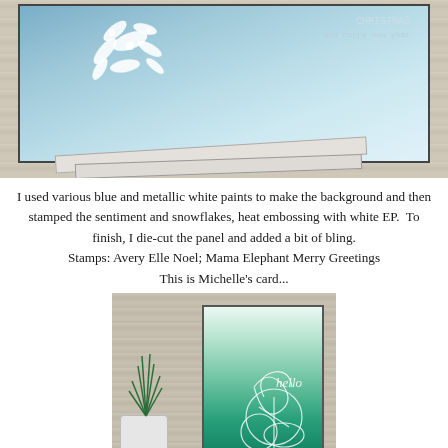[Figure (photo): Close-up photo of a handmade blue and white Christmas card with snowflake stamping and heat embossing, displayed on a weathered white wood background with paper strips fanned out below]
I used various blue and metallic white paints to make the background and then stamped the sentiment and snowflakes, heat embossing with white EP.  To finish, I die-cut the panel and added a bit of bling.
Stamps: Avery Elle Noel; Mama Elephant Merry Greetings
This is Michelle's card...
[Figure (photo): Photo of a handmade card with a teal/green ombre background and white floral/snowflake heat embossing with 'hello' script, displayed next to a small succulent plant in a white square pot on a wood background]